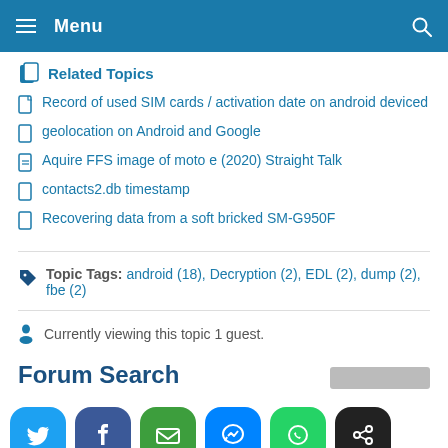Menu
Related Topics
Record of used SIM cards / activation date on android deviced
geolocation on Android and Google
Aquire FFS image of moto e (2020) Straight Talk
contacts2.db timestamp
Recovering data from a soft bricked SM-G950F
Topic Tags: android (18), Decryption (2), EDL (2), dump (2), fbe (2)
Currently viewing this topic 1 guest.
Forum Search
[Figure (infographic): Social sharing buttons: Twitter, Facebook, Email, Messenger, WhatsApp, Share]